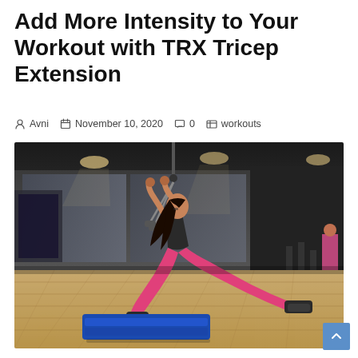Add More Intensity to Your Workout with TRX Tricep Extension
Avni   November 10, 2020   0   workouts
[Figure (photo): Woman performing TRX tricep extension exercise in a gym, wearing pink leggings and black top, leaning back with arms extended holding TRX straps, with a blue exercise mat on the wooden floor]